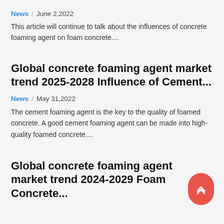News / June 2,2022
This article will continue to talk about the influences of concrete foaming agent on foam concrete....
Global concrete foaming agent market trend 2025-2028 Influence of Cement...
News / May 31,2022
The cement foaming agent is the key to the quality of foamed concrete. A good cement foaming agent can be made into high-quality foamed concrete....
Global concrete foaming agent market trend 2024-2029 Foam Concrete...